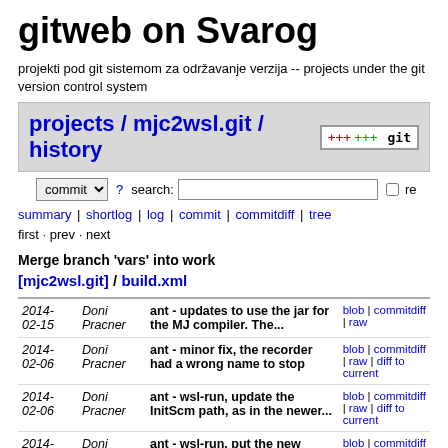gitweb on Svarog
projekti pod git sistemom za održavanje verzija -- projects under the git version control system
projects / mjc2wsl.git / history
commit ? search: re
summary | shortlog | log | commit | commitdiff | tree
first · prev · next
Merge branch 'vars' into work
[mjc2wsl.git] / build.xml
| Date | Author | Message | Links |
| --- | --- | --- | --- |
| 2014-02-15 | Doni Pracner | ant - updates to use the jar for the MJ compiler. The... | blob | commitdiff | raw |
| 2014-02-06 | Doni Pracner | ant - minor fix, the recorder had a wrong name to stop | blob | commitdiff | raw | diff to current |
| 2014-02-06 | Doni Pracner | ant - wsl-run, update the InitScm path, as in the newer... | blob | commitdiff | raw | diff to current |
| 2014-02-06 | Doni Pracner | ant - wsl-run, put the new folder at the start of the... | blob | commitdiff | raw | diff to current |